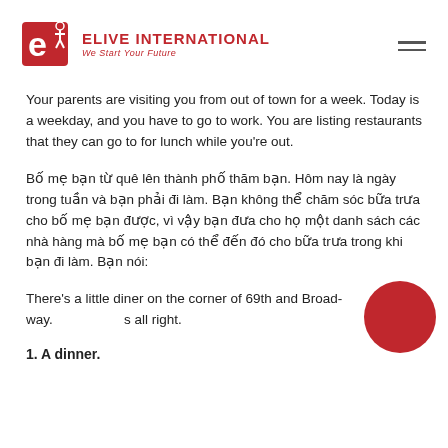[Figure (logo): Elive International logo with red icon and text 'ELIVE INTERNATIONAL / We Start Your Future']
Your parents are visiting you from out of town for a week. Today is a weekday, and you have to go to work. You are listing restaurants that they can go to for lunch while you're out.
Bố mẹ bạn từ quê lên thành phố thăm bạn. Hôm nay là ngày trong tuần và bạn phải đi làm. Bạn không thể chăm sóc bữa trưa cho bố mẹ bạn được, vì vậy bạn đưa cho họ một danh sách các nhà hàng mà bố mẹ bạn có thể đến đó cho bữa trưa trong khi bạn đi làm. Bạn nói:
There's a little diner on the corner of 69th and Broadway. It's all right.
1. A dinner.